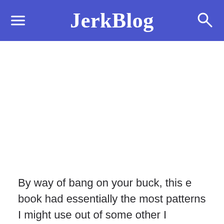JerkBlog
By way of bang on your buck, this e book had essentially the most patterns I might use out of some other I purchased final 12 months into this one.